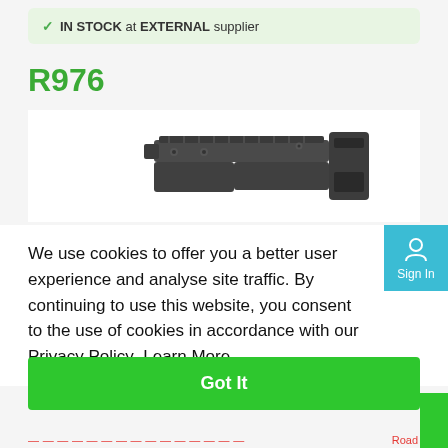✓ IN STOCK at EXTERNAL supplier
R976
[Figure (photo): Photograph of a dark metallic firearm component/chassis part, viewed from an angle, showing top rail and grip area structure.]
We use cookies to offer you a better user experience and analyse site traffic. By continuing to use this website, you consent to the use of cookies in accordance with our Privacy Policy  Learn More
Got It
Sign In
Road